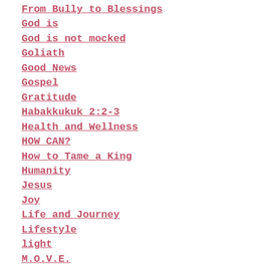From Bully to Blessings
God is
God is not mocked
Goliath
Good News
Gospel
Gratitude
Habakkukuk 2:2-3
Health and Wellness
HOW CAN?
How to Tame a King
Humanity
Jesus
Joy
Life and Journey
Lifestyle
light
M.O.V.E.
Martin Luther King, Jr.
Martin Luther King, Jr. Memorial